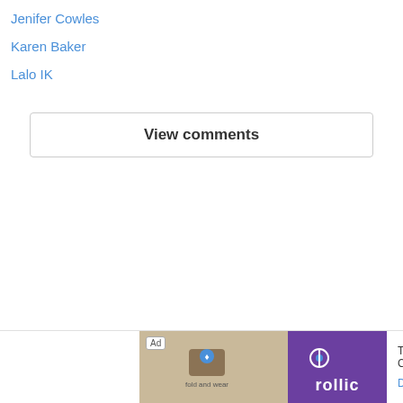Jenifer Cowles
Karen Baker
Lalo IK
View comments
[Figure (other): Advertisement banner at the bottom of the page showing a Rollic game ad with text 'They Are Coming!' and a Download button]